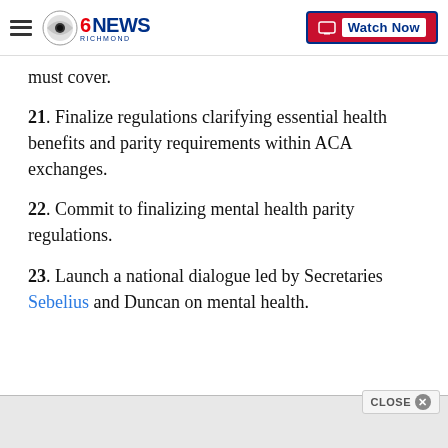CBS 6 NEWS Richmond — Watch Now
must cover.
21. Finalize regulations clarifying essential health benefits and parity requirements within ACA exchanges.
22. Commit to finalizing mental health parity regulations.
23. Launch a national dialogue led by Secretaries Sebelius and Duncan on mental health.